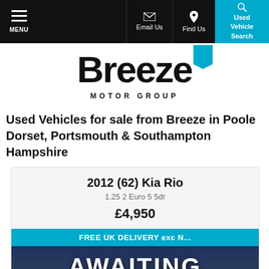MENU | Email Us | Find Us | Used Vehicle Search
[Figure (logo): Breeze Motor Group logo with cyan bookmark icon]
Used Vehicles for sale from Breeze in Poole Dorset, Portsmouth & Southampton Hampshire
2012 (62) Kia Rio
1.25 2 Euro 5 5dr
£4,950
FREE UK DELIVERY exc N...
[Figure (photo): Awaiting Preparation placeholder image with dark background showing building silhouette]